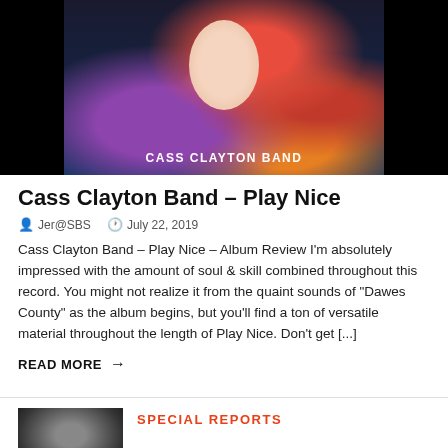[Figure (photo): Cass Clayton Band album art photo showing a woman with flowing light hair surrounded by colorful flowers on a dark background, with text 'CASS CLAYTON BAND' overlaid at bottom]
Cass Clayton Band – Play Nice
Jer@SBS   July 22, 2019
Cass Clayton Band – Play Nice – Album Review I'm absolutely impressed with the amount of soul & skill combined throughout this record. You might not realize it from the quaint sounds of "Dawes County" as the album begins, but you'll find a ton of versatile material throughout the length of Play Nice.  Don't get [...]
READ MORE →
[Figure (photo): Small thumbnail image, dark/low-light photo]
SPECIAL REPORTS